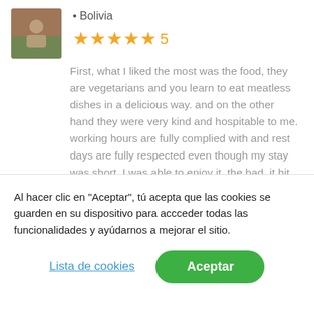[Figure (photo): Small profile photo of a person outdoors]
• Bolivia
[Figure (other): 5 gold stars rating with number 5]
First, what I liked the most was the food, they are vegetarians and you learn to eat meatless dishes in a delicious way. and on the other hand they were very kind and hospitable to me. working hours are fully complied with and rest days are fully respected even though my stay was short, I was able to enjoy it. the bad, it hit me a huge hahah
I am really grateful to them.
Al hacer clic en “Aceptar”, tú acepta que las cookies se guarden en su dispositivo para accceder todas las funcionalidades y ayúdarnos a mejorar el sitio.
Lista de cookies
Aceptar